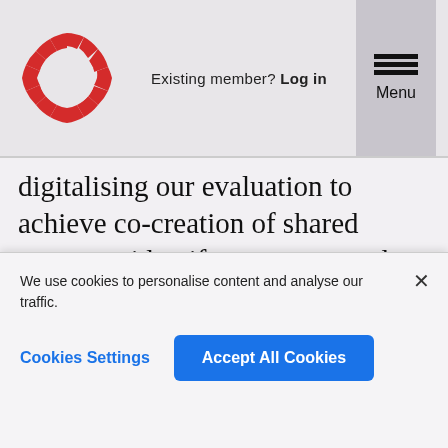Existing member? Log in | Menu
digitalising our evaluation to achieve co-creation of shared spaces to identify successes and failures in real time. By working with stakeholders and getting real time data, we can use quality improvement and implementation science methodology to continuously monitor and embed improvements so HEE programme participants can maximise outputs (and impact)
We use cookies to personalise content and analyse our traffic.
Cookies Settings
Accept All Cookies